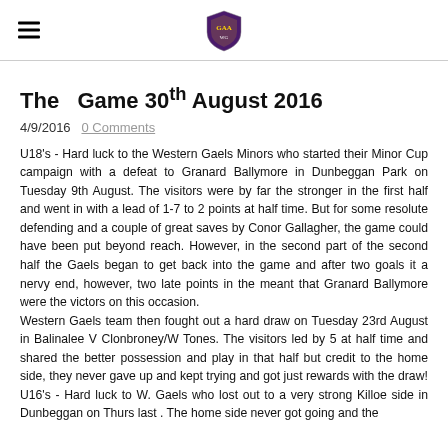[hamburger menu] [club crest logo]
The  Game 30th August 2016
4/9/2016  0 Comments
U18's - Hard luck to the Western Gaels Minors who started their Minor Cup campaign with a defeat to Granard Ballymore in Dunbeggan Park on Tuesday 9th August. The visitors were by far the stronger in the first half and went in with a lead of 1-7 to 2 points at half time. But for some resolute defending and a couple of great saves by Conor Gallagher, the game could have been put beyond reach. However, in the second part of the second half the Gaels began to get back into the game and after two goals it a nervy end, however, two late points in the meant that Granard Ballymore were the victors on this occasion.
Western Gaels team then fought out a hard draw on Tuesday 23rd August in Balinalee V Clonbroney/W Tones. The visitors led by 5 at half time and shared the better possession and play in that half but credit to the home side, they never gave up and kept trying and got just rewards with the draw!
U16's - Hard luck to W. Gaels who lost out to a very strong Killoe side in Dunbeggan on Thurs last . The home side never got going and the